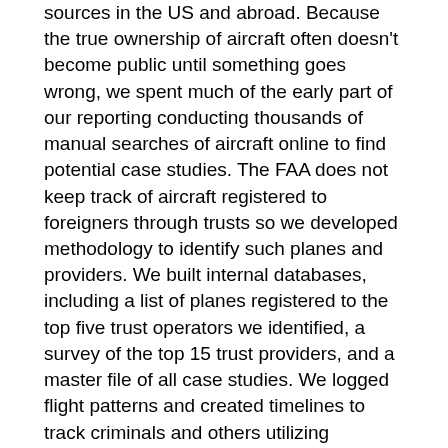sources in the US and abroad. Because the true ownership of aircraft often doesn't become public until something goes wrong, we spent much of the early part of our reporting conducting thousands of manual searches of aircraft online to find potential case studies. The FAA does not keep track of aircraft registered to foreigners through trusts so we developed methodology to identify such planes and providers. We built internal databases, including a list of planes registered to the top five trust operators we identified, a survey of the top 15 trust providers, and a master file of all case studies. We logged flight patterns and created timelines to track criminals and others utilizing American aircraft. Developer Gabriel Florit ran a massive online search of the tail numbers for U.S. planes owned by foreigners and created a searchable database that reporters then mined.
What other challenges or barriers did your team face while working on the story or series, and how did you